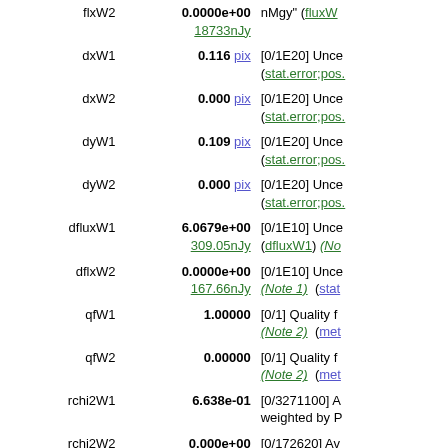| Field | Value | Description |
| --- | --- | --- |
| flxW2 | 0.0000e+00  18733nJy | [−430/360/1... nMgy" (fluxW... |
| dxW1 | 0.116  pix | [0/1E20] Unce (stat.error;pos.... |
| dxW2 | 0.000  pix | [0/1E20] Unce (stat.error;pos.... |
| dyW1 | 0.109  pix | [0/1E20] Unce (stat.error;pos.... |
| dyW2 | 0.000  pix | [0/1E20] Unce (stat.error;pos.... |
| dfluxW1 | 6.0679e+00  309.05nJy | [0/1E10] Unce (dfluxW1) (No... |
| dflxW2 | 0.0000e+00  167.66nJy | [0/1E10] Unce (Note 1)  (stat... |
| qfW1 | 1.00000 | [0/1] Quality f (Note 2)  (met... |
| qfW2 | 0.00000 | [0/1] Quality f (Note 2)  (met... |
| rchi2W1 | 6.638e-01 | [0/3271100] A weighted by P |
| rchi2W2 | 0.000e+00 | [0/172620] Av PSF (stat.fit.ch... |
| fracfluxW1 | 0.8008 | [-64/564] Fra... |